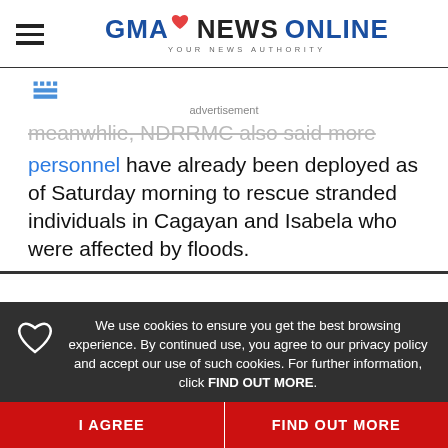GMA NEWS ONLINE - YOUR NEWS AUTHORITY
[Figure (logo): Weather widget icon (W symbol in blue)]
advertisement
personnel have already been deployed as of Saturday morning to rescue stranded individuals in Cagayan and Isabela who were affected by floods.
We use cookies to ensure you get the best browsing experience. By continued use, you agree to our privacy policy and accept our use of such cookies. For further information, click FIND OUT MORE.
I AGREE
FIND OUT MORE